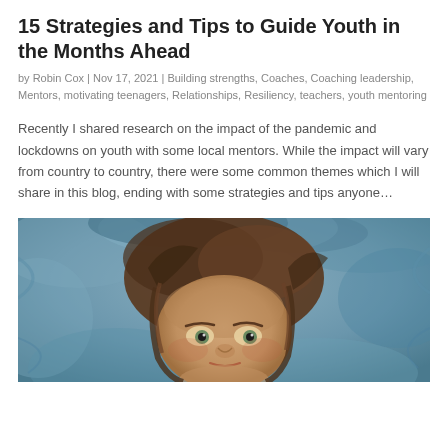15 Strategies and Tips to Guide Youth in the Months Ahead
by Robin Cox | Nov 17, 2021 | Building strengths, Coaches, Coaching leadership, Mentors, motivating teenagers, Relationships, Resiliency, teachers, youth mentoring
Recently I shared research on the impact of the pandemic and lockdowns on youth with some local mentors. While the impact will vary from country to country, there were some common themes which I will share in this blog, ending with some strategies and tips anyone...
[Figure (photo): Close-up photo of a young girl with brown hair looking up, against a blurred blue-grey background suggesting crumpled fabric or leaves.]